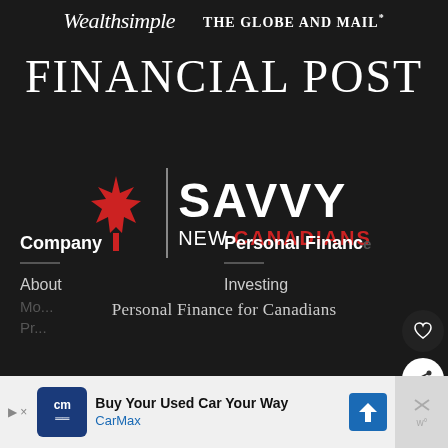[Figure (logo): Wealthsimple logo (italic serif text) and The Globe and Mail logo side by side on dark background]
[Figure (logo): Financial Post logo in large serif capital letters on dark background]
[Figure (logo): Savvy New Canadians logo: red maple leaf, vertical divider line, SAVVY in large white bold sans-serif, NEW in white and CANADIANS in red below]
Personal Finance for Canadians
Company
Personal Finance
About
Investing
[Figure (screenshot): CarMax advertisement banner: Buy Your Used Car Your Way - CarMax]